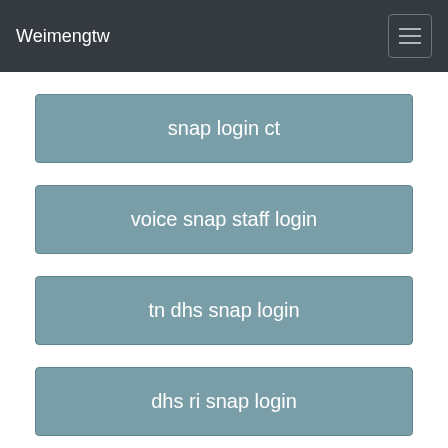Weimengtw
snap login ct
voice snap staff login
tn dhs snap login
dhs ri snap login
babble snap login